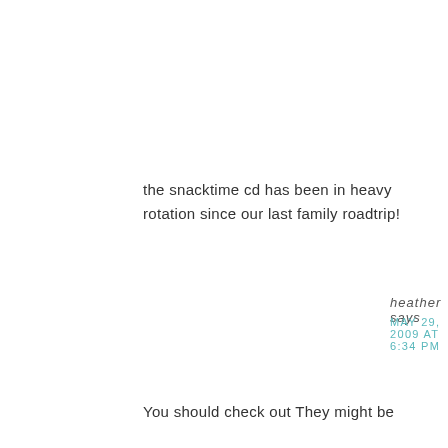the snacktime cd has been in heavy rotation since our last family roadtrip!
Reply
heather says
MAY 29, 2009 AT 6:34 PM
You should check out They might be